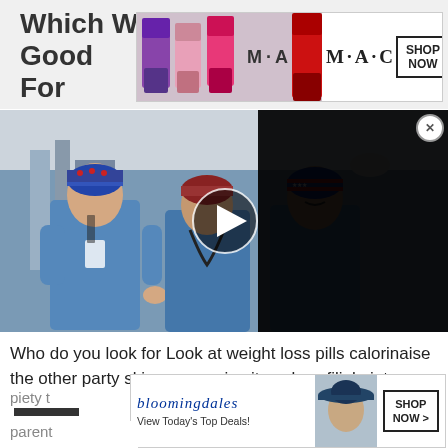Which Weight Loss Pills Are Good For
[Figure (advertisement): MAC cosmetics lipstick advertisement banner with purple, pink, and red lipsticks, MAC logo, and SHOP NOW button]
[Figure (screenshot): Video thumbnail showing three surgeons in blue scrubs wearing patterned surgical caps in an operating room, with a play button overlay and a black panel on the right side]
Who do you look for Look at weight loss pills calorinaise the other party skinny gummies it works s filial piety al
piety t
[Figure (advertisement): Bloomingdale's advertisement with script logo, 'View Today's Top Deals!' tagline, model in hat, and SHOP NOW button]
parent nice